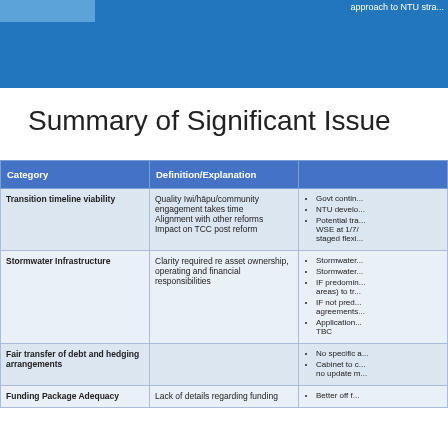approach to NTU stra...
Summary of Significant Issues
| Category | Definition/Explanation |  |
| --- | --- | --- |
| Transition timeline viability | Quality Iwi/hāpu/community engagement takes time
Alignment with other reforms
Impact on TCC post reform | Govt contin...
NTU develo...
Potential tra... WSE at 1/7/... staged flexi... |
| Stormwater Infrastructure | Clarity required re asset ownership, operating and financial responsibilities | Stormwater...
Stormwater...
IF predomin... areas) to tr...
IF not pred... agreements...
Application... TBC |
| Fair transfer of debt and hedging arrangements |  | No specific a...
Cabinet to c... no update m... |
| Funding Package Adequacy | Lack of details regarding funding | Better off f... |